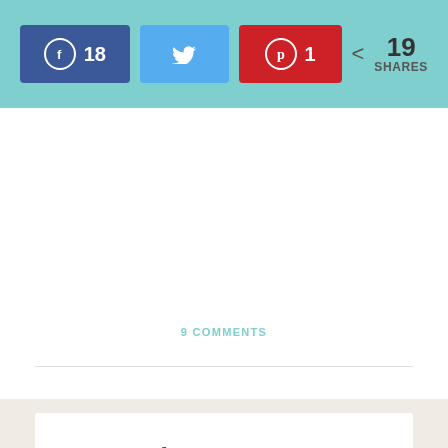[Figure (screenshot): Social share bar with Facebook (18), Twitter, Pinterest (1) buttons and 19 SHARES total count on teal background]
9 COMMENTS
Sign up for the Oui In France Newsletter!